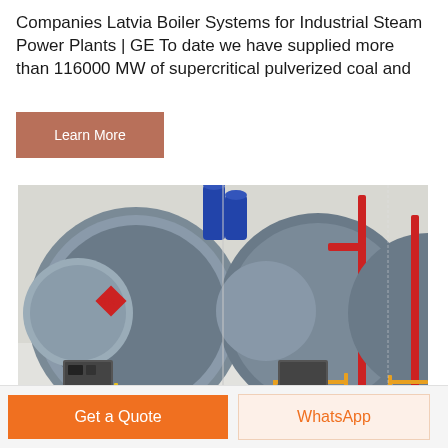Companies Latvia Boiler Systems for Industrial Steam Power Plants | GE To date we have supplied more than 116000 MW of supercritical pulverized coal and
[Figure (other): Button labeled 'Learn More' with a brownish-red/terracotta background color]
[Figure (photo): Industrial boiler systems in a factory setting — large cylindrical blue-grey boilers with orange/yellow gas pipes, red pipes, and blue barrels on the floor. Chinese characters visible on the boilers.]
[Figure (other): Bottom navigation bar with an orange 'Get a Quote' button on the left and a light orange 'WhatsApp' button on the right]